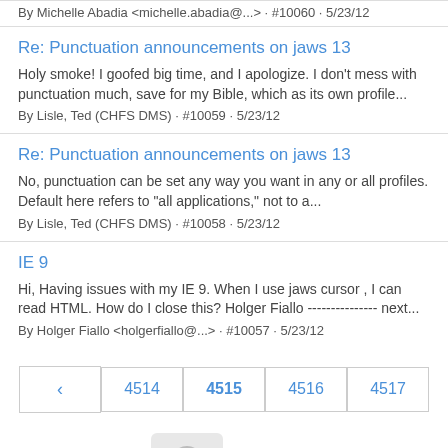By Michelle Abadia <michelle.abadia@...> · #10060 · 5/23/12
Re: Punctuation announcements on jaws 13
Holy smoke! I goofed big time, and I apologize. I don't mess with punctuation much, save for my Bible, which as its own profile...
By Lisle, Ted (CHFS DMS) · #10059 · 5/23/12
Re: Punctuation announcements on jaws 13
No, punctuation can be set any way you want in any or all profiles. Default here refers to "all applications," not to a...
By Lisle, Ted (CHFS DMS) · #10058 · 5/23/12
IE 9
Hi, Having issues with my IE 9. When I use jaws cursor , I can read HTML. How do I close this? Holger Fiallo --------------- next...
By Holger Fiallo <holgerfiallo@...> · #10057 · 5/23/12
4514 4515 4516 4517